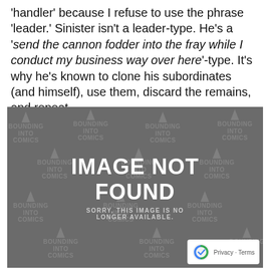'handler' because I refuse to use the phrase 'leader.' Sinister isn't a leader-type. He's a 'send the cannon fodder into the fray while I conduct my business way over here'-type. It's why he's known to clone his subordinates (and himself), use them, discard the remains, and repeat.
[Figure (other): Image Not Found placeholder with 'BOUNDING INTO COMICS' watermark repeated across a grey background. Large white text reads 'IMAGE NOT FOUND' with smaller text 'SORRY, THIS IMAGE IS NO LONGER AVAILABLE.' A Google reCAPTCHA privacy badge appears in the bottom-right corner.]